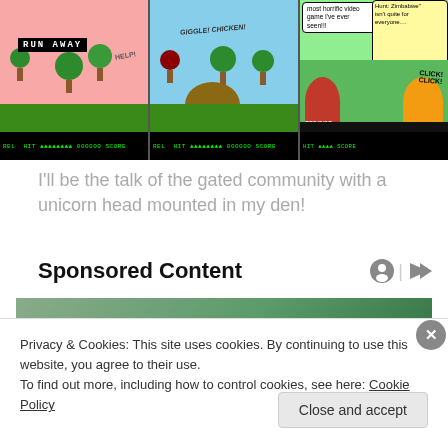[Figure (illustration): Three-panel webcomic image: Panel 1 shows a duck hunt style game with 'RUN AWAY' text box and cartoon bird. Panel 2 shows a duck hunt panel with a laughing dog. Panel 3 shows cartoon characters from another video game context with speech bubbles saying 'most horrific video game I've ever seen!!!' and 'Hunt: Zimbabwe isn't quite for everyone...']
I'll be the talk of the gated community with a unicorn head mounted in my den!
Sponsored Content
[Figure (photo): Partial photo of a person outdoors, mostly obscured by cookie consent overlay]
Privacy & Cookies: This site uses cookies. By continuing to use this website, you agree to their use.
To find out more, including how to control cookies, see here: Cookie Policy
Close and accept